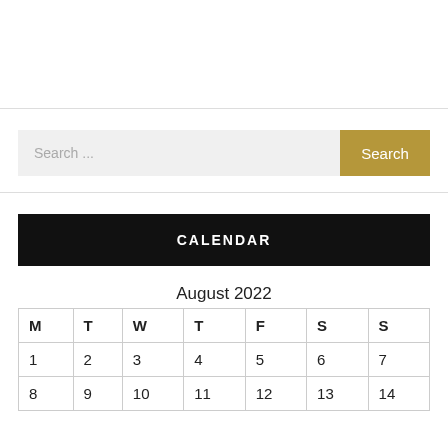[Figure (screenshot): Search bar with text input field showing 'Search ...' placeholder and a gold 'Search' button]
CALENDAR
| M | T | W | T | F | S | S |
| --- | --- | --- | --- | --- | --- | --- |
| 1 | 2 | 3 | 4 | 5 | 6 | 7 |
| 8 | 9 | 10 | 11 | 12 | 13 | 14 |